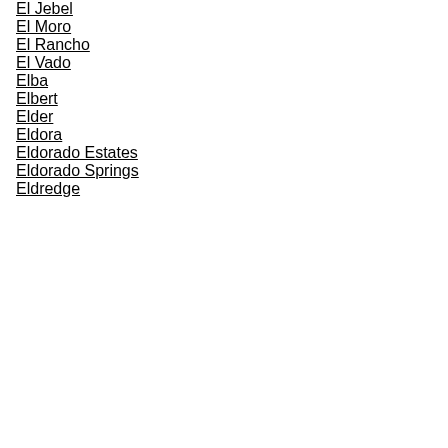El Jebel
El Moro
El Rancho
El Vado
Elba
Elbert
Elder
Eldora
Eldorado Estates
Eldorado Springs
Eldredge